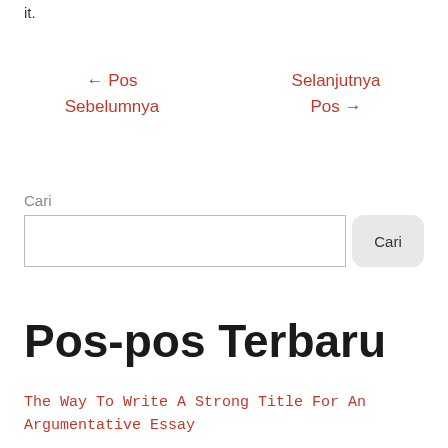it.
← Pos Sebelumnya
Selanjutnya Pos →
Cari
Pos-pos Terbaru
The Way To Write A Strong Title For An Argumentative Essay